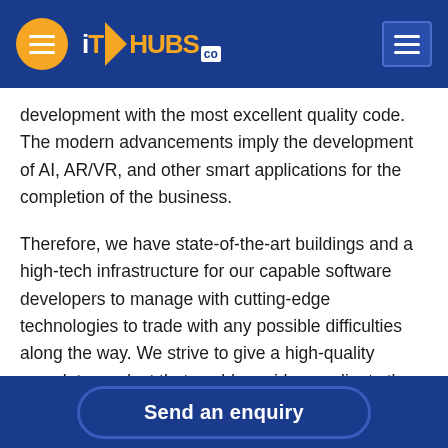iT HUBS co
development with the most excellent quality code. The modern advancements imply the development of AI, AR/VR, and other smart applications for the completion of the business.
Therefore, we have state-of-the-art buildings and a high-tech infrastructure for our capable software developers to manage with cutting-edge technologies to trade with any possible difficulties along the way. We strive to give a high-quality complete product that could provide our clients the best ROI.
Our services appear to have no limitations. Hence, we also provide to our huge client base in
Send an enquiry